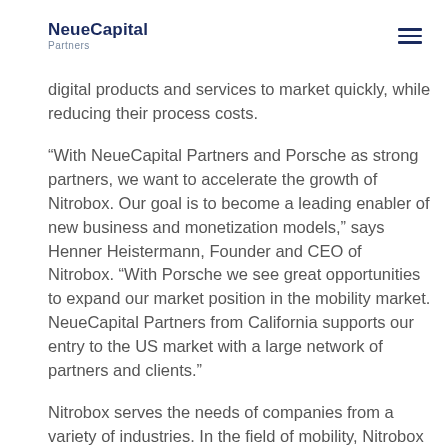NeueCapital Partners
digital products and services to market quickly, while reducing their process costs.
“With NeueCapital Partners and Porsche as strong partners, we want to accelerate the growth of Nitrobox. Our goal is to become a leading enabler of new business and monetization models,” says Henner Heistermann, Founder and CEO of Nitrobox. “With Porsche we see great opportunities to expand our market position in the mobility market. NeueCapital Partners from California supports our entry to the US market with a large network of partners and clients.”
Nitrobox serves the needs of companies from a variety of industries. In the field of mobility, Nitrobox is already working with several car